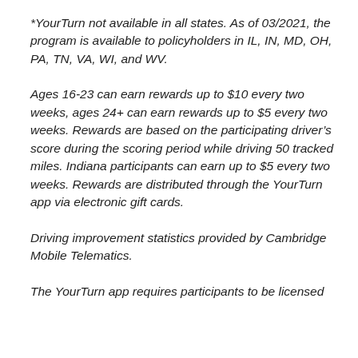*YourTurn not available in all states. As of 03/2021, the program is available to policyholders in IL, IN, MD, OH, PA, TN, VA, WI, and WV.
Ages 16-23 can earn rewards up to $10 every two weeks, ages 24+ can earn rewards up to $5 every two weeks. Rewards are based on the participating driver’s score during the scoring period while driving 50 tracked miles. Indiana participants can earn up to $5 every two weeks. Rewards are distributed through the YourTurn app via electronic gift cards.
Driving improvement statistics provided by Cambridge Mobile Telematics.
The YourTurn app requires participants to be licensed